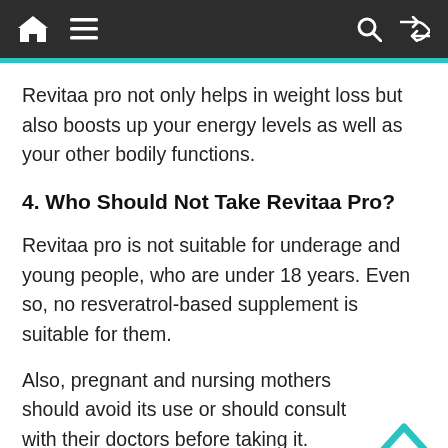Navigation bar with home, menu, search, and shuffle icons
Revitaa pro not only helps in weight loss but also boosts up your energy levels as well as your other bodily functions.
4. Who Should Not Take Revitaa Pro?
Revitaa pro is not suitable for underage and young people, who are under 18 years. Even so, no resveratrol-based supplement is suitable for them.
Also, pregnant and nursing mothers should avoid its use or should consult with their doctors before taking it.